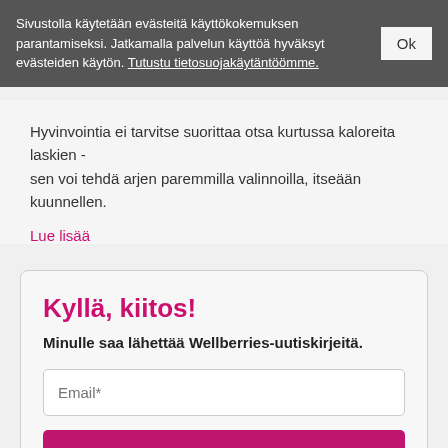Sivustolla käytetään evästeitä käyttökokemuksen parantamiseksi. Jatkamalla palvelun käyttöä hyväksyt evästeiden käytön. Tutustu tietosuojakäytäntöömme.
Ok
Hyvinvointia ei tarvitse suorittaa otsa kurtussa kaloreita laskien - sen voi tehdä arjen paremmilla valinnoilla, itseään kuunnellen.
Lue lisää
Kyllä, kiitos!
Minulle saa lähettää Wellberries-uutiskirjeitä.
Email*
Tilaa